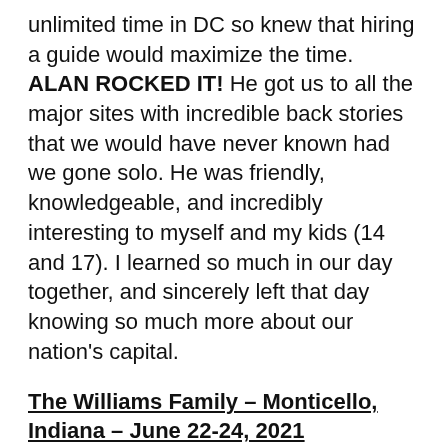unlimited time in DC so knew that hiring a guide would maximize the time. ALAN ROCKED IT! He got us to all the major sites with incredible back stories that we would have never known had we gone solo. He was friendly, knowledgeable, and incredibly interesting to myself and my kids (14 and 17). I learned so much in our day together, and sincerely left that day knowing so much more about our nation's capital.
The Williams Family – Monticello, Indiana – June 22-24, 2021
There are not enough words to describe our